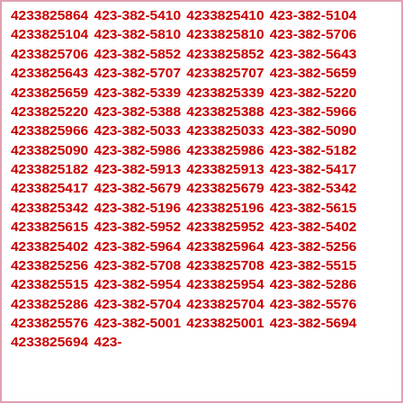4233825864 423-382-5410 4233825410 423-382-5104 4233825104 423-382-5810 4233825810 423-382-5706 4233825706 423-382-5852 4233825852 423-382-5643 4233825643 423-382-5707 4233825707 423-382-5659 4233825659 423-382-5339 4233825339 423-382-5220 4233825220 423-382-5388 4233825388 423-382-5966 4233825966 423-382-5033 4233825033 423-382-5090 4233825090 423-382-5986 4233825986 423-382-5182 4233825182 423-382-5913 4233825913 423-382-5417 4233825417 423-382-5679 4233825679 423-382-5342 4233825342 423-382-5196 4233825196 423-382-5615 4233825615 423-382-5952 4233825952 423-382-5402 4233825402 423-382-5964 4233825964 423-382-5256 4233825256 423-382-5708 4233825708 423-382-5515 4233825515 423-382-5954 4233825954 423-382-5286 4233825286 423-382-5704 4233825704 423-382-5576 4233825576 423-382-5001 4233825001 423-382-5694 4233825694 423-